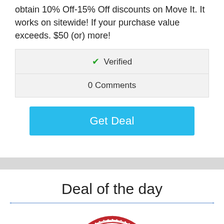obtain 10% Off-15% Off discounts on Move It. It works on sitewide! If your purchase value exceeds. $50 (or) more!
| ✔ Verified |
| 0 Comments |
Get Deal
Deal of the day
[Figure (illustration): A red stamp badge with text GREAT DEAL repeated in circular and banner format]